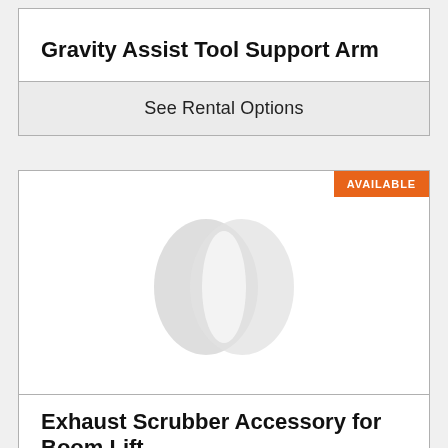Gravity Assist Tool Support Arm
See Rental Options
[Figure (illustration): Placeholder image showing overlapping circle logo in light grey]
Exhaust Scrubber Accessory for Boom Lift
See Rental Options